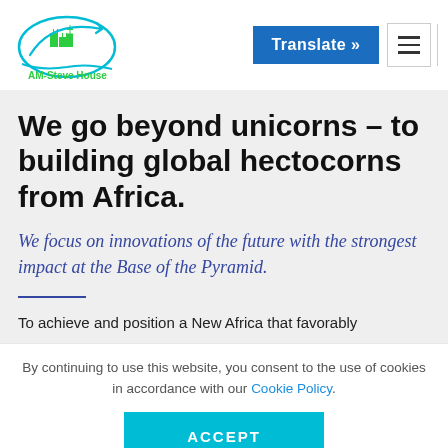AM-Steve House [logo] | Translate »
We go beyond unicorns – to building global hectocorns from Africa.
We focus on innovations of the future with the strongest impact at the Base of the Pyramid.
To achieve and position a New Africa that favorably
By continuing to use this website, you consent to the use of cookies in accordance with our Cookie Policy.
ACCEPT